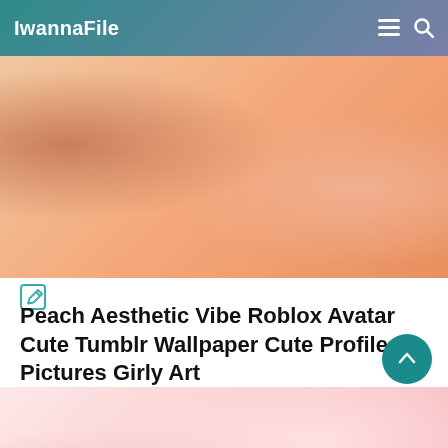IwannaFile
[Figure (photo): Peach aesthetic Roblox avatar image with peach colors, hearts, and decorative elements]
[Figure (illustration): Edit/pencil icon]
Peach Aesthetic Vibe Roblox Avatar Cute Tumblr Wallpaper Cute Profile Pictures Girly Art
[Figure (photo): Pink aesthetic Roblox avatar with camera and rainbow background, girly art style]